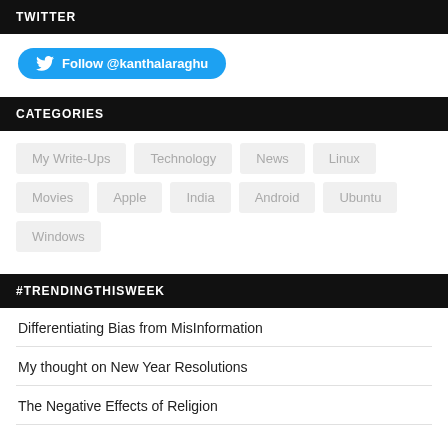TWITTER
Follow @kanthalaraghu
CATEGORIES
My Write-Ups
Technology
News
Linux
Movies
Apple
India
Android
Ubuntu
Windows
#TRENDINGTHISWEEK
Differentiating Bias from MisInformation
My thought on New Year Resolutions
The Negative Effects of Religion